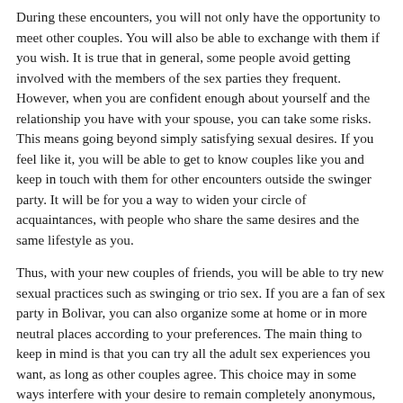During these encounters, you will not only have the opportunity to meet other couples. You will also be able to exchange with them if you wish. It is true that in general, some people avoid getting involved with the members of the sex parties they frequent. However, when you are confident enough about yourself and the relationship you have with your spouse, you can take some risks. This means going beyond simply satisfying sexual desires. If you feel like it, you will be able to get to know couples like you and keep in touch with them for other encounters outside the swinger party. It will be for you a way to widen your circle of acquaintances, with people who share the same desires and the same lifestyle as you.
Thus, with your new couples of friends, you will be able to try new sexual practices such as swinging or trio sex. If you are a fan of sex party in Bolivar, you can also organize some at home or in more neutral places according to your preferences. The main thing to keep in mind is that you can try all the adult sex experiences you want, as long as other couples agree. This choice may in some ways interfere with your desire to remain completely anonymous, but you just have to be on the same